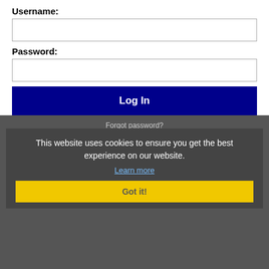Username:
Password:
Log In
Forgot password?
This website uses cookies to ensure you get the best experience on our website.
Learn more
Got it!
Get the latest Texas jobs by following @recnetTX on Twitter!
Denton RSS job feeds